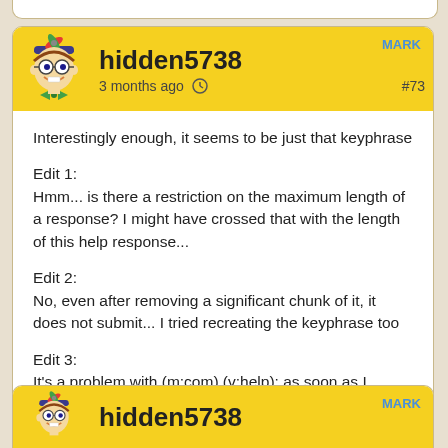hidden5738
3 months ago  #73
MARK
Interestingly enough, it seems to be just that keyphrase
Edit 1:
Hmm... is there a restriction on the maximum length of a response? I might have crossed that with the length of this help response...
Edit 2:
No, even after removing a significant chunk of it, it does not submit... I tried recreating the keyphrase too
Edit 3:
It's a problem with (m:com) (v:help); as soon as I replaced that with just "help", the keyphrase got submitted
hidden5738
MARK